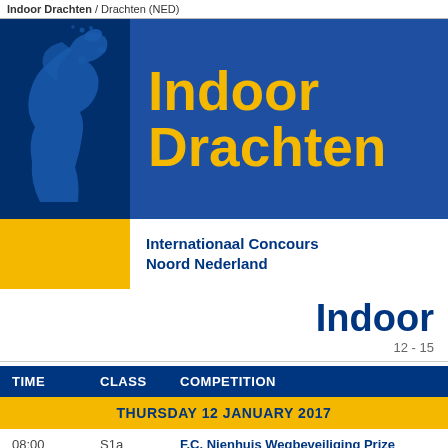Indoor Drachten / Drachten (NED)
[Figure (logo): Indoor Drachten logo with horse head in blue and gold text on dark blue background]
Internationaal Concours Noord Nederland
Indoor
12 - 15
| TIME | CLASS | COMPETITION |
| --- | --- | --- |
| THURSDAY 12 JANUARY 2017 |  |  |
| 08:00 | S1a | F.C. Nienhuis Wegbeveiliging Prize
International Jumping CSI2* Small Tour |